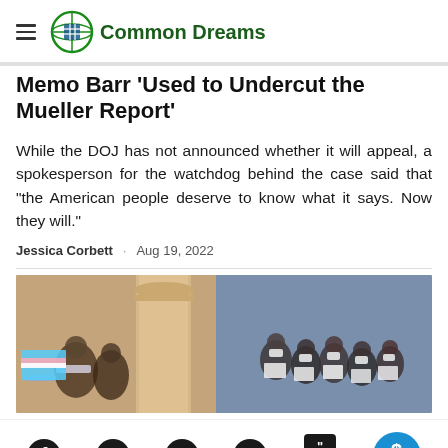Common Dreams
Memo Barr 'Used to Undercut the Mueller Report'
While the DOJ has not announced whether it will appeal, a spokesperson for the watchdog behind the case said that "the American people deserve to know what it says. Now they will."
Jessica Corbett · Aug 19, 2022
[Figure (photo): Crowd of protesters wearing masks and holding signs inside what appears to be a government building with columns]
Social sharing buttons: Facebook, Twitter, Email, Link, Comments (138), GIVE